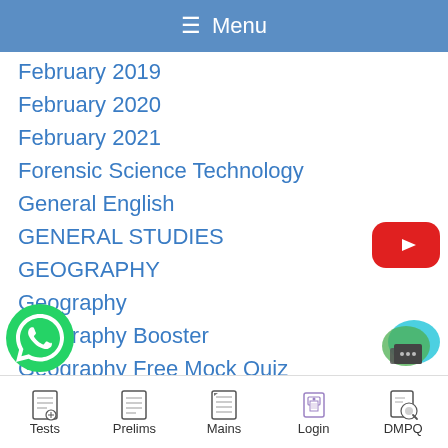≡ Menu
February 2019
February 2020
February 2021
Forensic Science Technology
General English
GENERAL STUDIES
GEOGRAPHY
Geography
Geography Booster
Geography Free Mock Quiz
Geography of Andhra Pradesh
Geography of India
[Figure (logo): YouTube play button icon (red rounded rectangle with white triangle)]
[Figure (logo): WhatsApp green phone icon]
[Figure (logo): Chat/messenger icon with teal/green bubble]
Tests   Prelims   Mains   Login   DMPQ